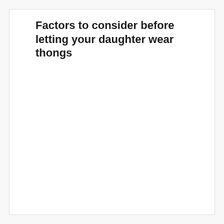Factors to consider before letting your daughter wear thongs